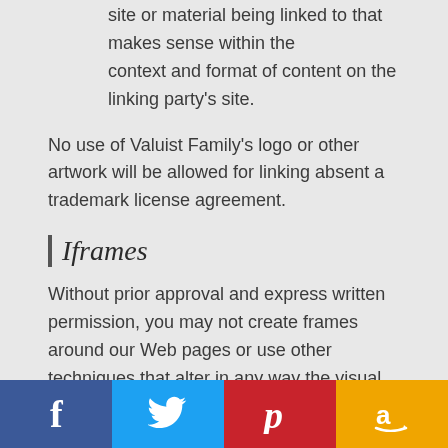site or material being linked to that makes sense within the context and format of content on the linking party's site.
No use of Valuist Family's logo or other artwork will be allowed for linking absent a trademark license agreement.
Iframes
Without prior approval and express written permission, you may not create frames around our Web pages or use other techniques that alter in any way the visual presentation or appearance of our Web site.
[Figure (infographic): Social media share buttons bar: Facebook (blue), Twitter (light blue), Pinterest (red), Amazon (orange) with respective icons]